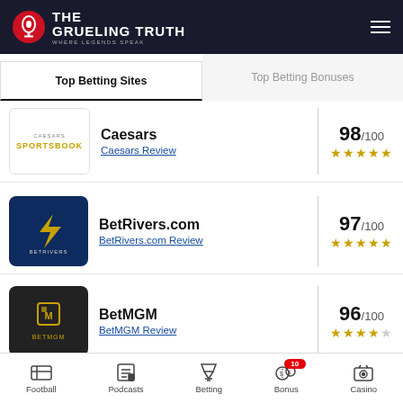THE GRUELING TRUTH — WHERE LEGENDS SPEAK
Top Betting Sites
Top Betting Bonuses
[Figure (logo): Caesars Sportsbook logo]
Caesars
Caesars Review
98/100 ★★★★★
[Figure (logo): BetRivers logo on dark blue background]
BetRivers.com
BetRivers.com Review
97/100 ★★★★★
[Figure (logo): BetMGM logo on dark background]
BetMGM
BetMGM Review
96/100 ★★★★★
Caesars Sports Bonus
100% up to $1250
Football | Podcasts | Betting | Bonus 10 | Casino